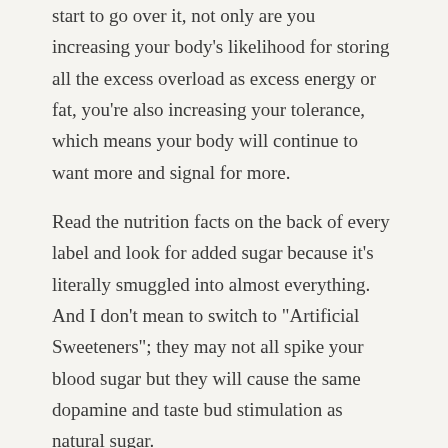start to go over it, not only are you increasing your body's likelihood for storing all the excess overload as excess energy or fat, you're also increasing your tolerance, which means your body will continue to want more and signal for more.
Read the nutrition facts on the back of every label and look for added sugar because it's literally smuggled into almost everything. And I don't mean to switch to "Artificial Sweeteners"; they may not all spike your blood sugar but they will cause the same dopamine and taste bud stimulation as natural sugar.
3. Add Your Own Flavor
When it comes to things like yogurt, potato chips, or water; don't buy pre-flavored versions. Buy the